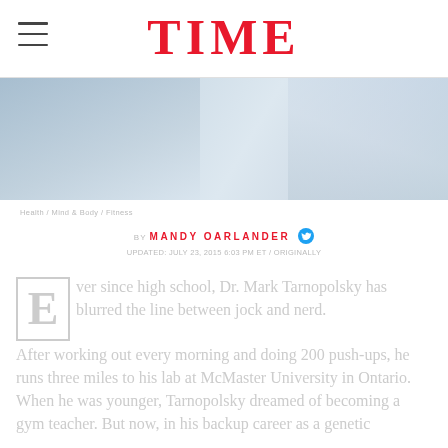TIME
[Figure (photo): Hero image showing muted blue-toned photograph, partially visible]
Health / Mind & Body / Fitness
BY MANDY OARLANDER
UPDATED: JULY 23, 2015 6:03 PM ET / ORIGINALLY
Ever since high school, Dr. Mark Tarnopolsky has blurred the line between jock and nerd. After working out every morning and doing 200 push-ups, he runs three miles to his lab at McMaster University in Ontario. When he was younger, Tarnopolsky dreamed of becoming a gym teacher. But now, in his backup career as a genetic